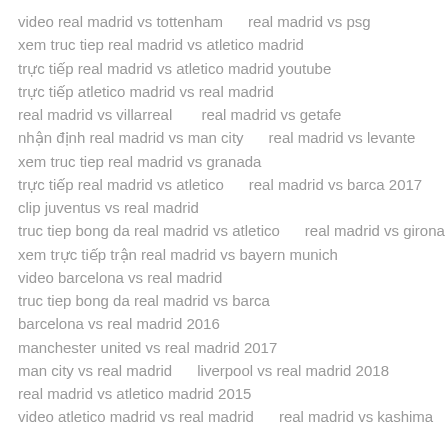video real madrid vs tottenham    real madrid vs psg
xem truc tiep real madrid vs atletico madrid
trực tiếp real madrid vs atletico madrid youtube
trực tiếp atletico madrid vs real madrid
real madrid vs villarreal      real madrid vs getafe
nhận định real madrid vs man city      real madrid vs levante
xem truc tiep real madrid vs granada
trực tiếp real madrid vs atletico      real madrid vs barca 2017
clip juventus vs real madrid
truc tiep bong da real madrid vs atletico      real madrid vs girona
xem trực tiếp trận real madrid vs bayern munich
video barcelona vs real madrid
truc tiep bong da real madrid vs barca
barcelona vs real madrid 2016
manchester united vs real madrid 2017
man city vs real madrid      liverpool vs real madrid 2018
real madrid vs atletico madrid 2015
video atletico madrid vs real madrid      real madrid vs kashima